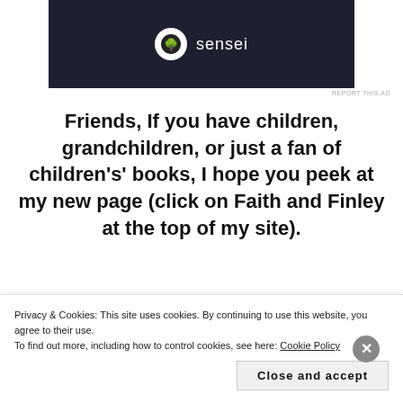[Figure (logo): Sensei logo on dark background with circular tree icon and 'sensei' text in white]
REPORT THIS AD
Friends, If you have children, grandchildren, or just a fan of children's' books, I hope you peek at my new page (click on Faith and Finley at the top of my site).
Faith and Finley Tour the 50 is the beginning of a series designed for ages 7-11 (ALL AGES 😉)
Privacy & Cookies: This site uses cookies. By continuing to use this website, you agree to their use.
To find out more, including how to control cookies, see here: Cookie Policy
Close and accept